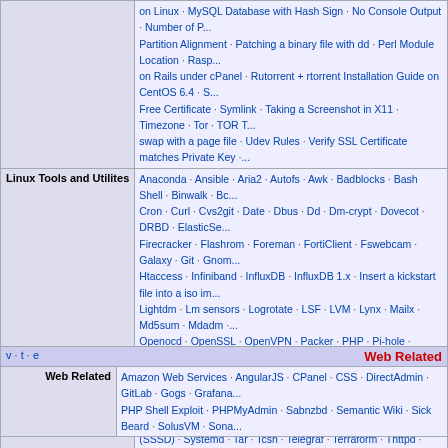|  | on Linux · MySQL Database with Hash Sign · No Console Output · Number of P... · Partition Alignment · Patching a binary file with dd · Perl Module Location · Rasp... on Rails under cPanel · Rutorrent + rtorrent Installation Guide on CentOS 6.4 · S... Free Certificate · Symlink · Taking a Screenshot in X11 · Timezone · Tor · TOR T... swap with a page file · Udev Rules · Verify SSL Certificate matches Private Key · ... |
| Linux Tools and Utilites | Anaconda · Ansible · Aria2 · Autofs · Awk · Badblocks · Bash Shell · Binwalk · Bc... Cron · Curl · Cvs2git · Date · Dbus · Dd · Dm-crypt · Dovecot · DRBD · ElasticSe... Firecracker · Flashrom · Foreman · FortiClient · Fswebcam · Galaxy · Git · Gnom... Htaccess · Infiniband · InfluxDB · InfluxDB 1.x · Insert a kickstart file into a iso im... Lightdm · Lm sensors · Logrotate · LSF · LVM · Lynx · Mailx · Md5sum · Mdadm · ... Openocd · OpenSSL · OpenVPN · Packer · PHP · Pi-hole · Postgres · PowerBro... Hat Satellite · Restic · Rsync · Rtorrent · Ruby · Sabnzbd · Sage · Samba · Scree... SMART · Sonarr · Sqlite · SquashFS · Squid · SSH · Steam · Stoken · Strace · S... (SSSD) · Systemd · Tar · Tcsh · Telegraf · Terraform · Thttpd · Tmux · Tomcat · Tc... Visidata · Vnstat · Weechat · Wget · XFS · Youtube-dl · ZFS · Zram |
| Package Management | APT · Pacman · RPM · Yum |
| Linux Distributions | Alpine Linux · Arch Linux · CentOS · Fedora · NixOS · Red Hat Enterprise Linux... |
| Networking | Blazemeter · CSF/LFD · Exim · Firewall · FreeIPA · Get DHCP Network Settings... Namespaces · MTU · Net-tools to iproute2 · Netcat · Open vSwitch · OpenWRT... Tcpdump · Traffic Forwarder using IPTables · Wi-Fi · WireGuard |
| Containers | Docker · Docker Compose · Docker Swarm · Helm · K3s · Kibana · Kubernetes · ... |
| v · t · e | Web Related |
| --- | --- |
| Web Related | Amazon Web Services · AngularJS · CPanel · CSS · DirectAdmin · GitLab · Gogs · Grafana... PHP Shell Exploit · PHPMyAdmin · Sabnzbd · Semantic Wiki · Sick Beard · SolusVM · Sona... |